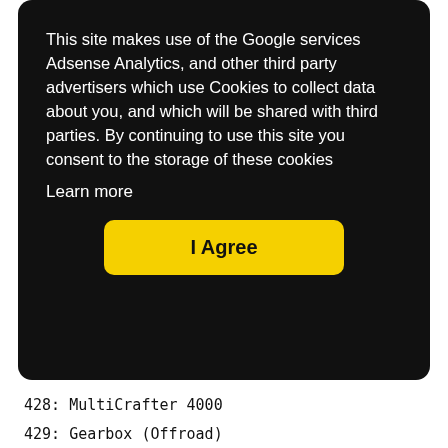This site makes use of the Google services Adsense Analytics, and other third party advertisers which use Cookies to collect data about you, and which will be shared with third parties. By continuing to use this site you consent to the storage of these cookies
Learn more
I Agree
428: MultiCrafter 4000
429: Gearbox (Offroad)
430: Gearbox (Offroad)
431: Shack
432: Extreme 4×4
433: Initial Stock